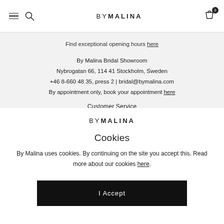BY MALINA — navigation bar with hamburger menu, search icon, logo, cart icon with badge 0
Find exceptional opening hours here
By Malina Bridal Showroom
Nybrogatan 66, 114 41 Stockholm, Sweden
+46 8-660 48 35, press 2 | bridal@bymalina.com
By appointment only, book your appointment here
Customer Service
[Figure (logo): BY MALINA logo in center of cookie dialog]
Cookies
By Malina uses cookies. By continuing on the site you accept this. Read more about our cookies here.
I Accept